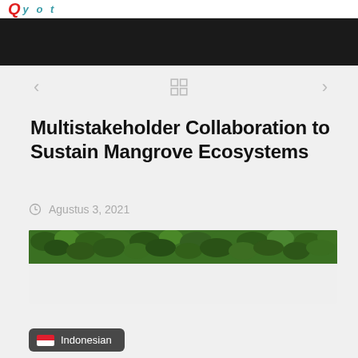Q [logo] — website header
Multistakeholder Collaboration to Sustain Mangrove Ecosystems
Agustus 3, 2021
[Figure (photo): Photograph of mangrove or tropical foliage canopy, dense green leaves viewed from below or at canopy level.]
Indonesian